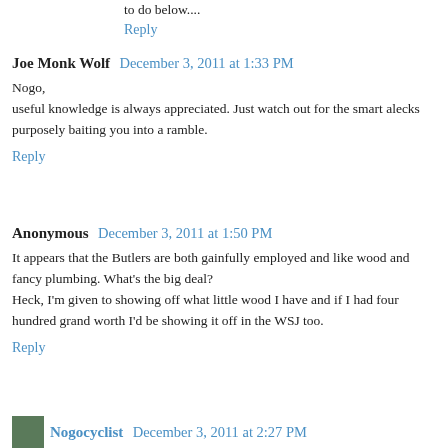to do below....
Reply
Joe Monk Wolf   December 3, 2011 at 1:33 PM
Nogo,
useful knowledge is always appreciated. Just watch out for the smart alecks purposely baiting you into a ramble.
Reply
Anonymous   December 3, 2011 at 1:50 PM
It appears that the Butlers are both gainfully employed and like wood and fancy plumbing. What's the big deal?
Heck, I'm given to showing off what little wood I have and if I had four hundred grand worth I'd be showing it off in the WSJ too.
Reply
Nogocyclist   December 3, 2011 at 2:27 PM